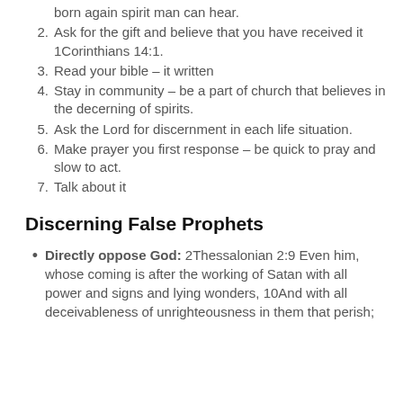born again spirit man can hear.
Ask for the gift and believe that you have received it 1Corinthians 14:1.
Read your bible – it written
Stay in community – be a part of church that believes in the decerning of spirits.
Ask the Lord for discernment in each life situation.
Make prayer you first response – be quick to pray and slow to act.
Talk about it
Discerning False Prophets
Directly oppose God: 2Thessalonian 2:9 Even him, whose coming is after the working of Satan with all power and signs and lying wonders, 10And with all deceivableness of unrighteousness in them that perish;